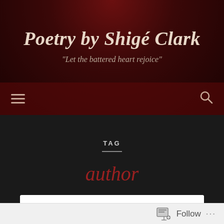Poetry by Shigé Clark
"Let the battered heart rejoice"
TAG
author
Featured Reader!
Follow